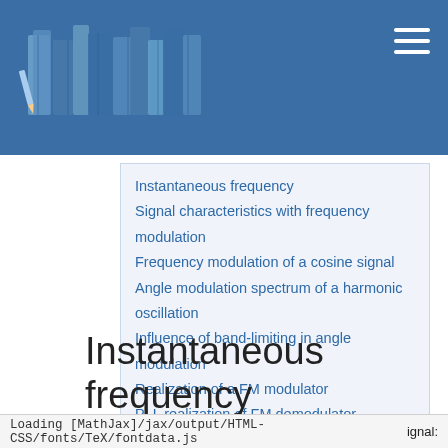[Header with logo image and hamburger menu on blue background]
Instantaneous frequency
Signal characteristics with frequency modulation
Frequency modulation of a cosine signal
Angle modulation spectrum of a harmonic oscillation
Influence of band-limiting in angle modulation
Realization of a FM modulator
PLL realization of FM demodulator
Exercises for the chapter
References
Instantaneous frequency
Loading [MathJax]/jax/output/HTML-CSS/fonts/TeX/fontdata.js    signal: